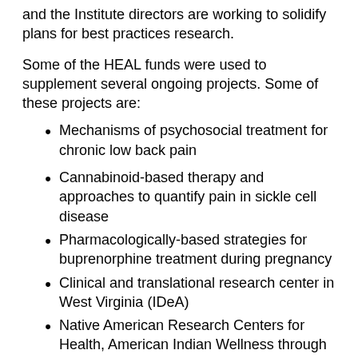and the Institute directors are working to solidify plans for best practices research.
Some of the HEAL funds were used to supplement several ongoing projects. Some of these projects are:
Mechanisms of psychosocial treatment for chronic low back pain
Cannabinoid-based therapy and approaches to quantify pain in sickle cell disease
Pharmacologically-based strategies for buprenorphine treatment during pregnancy
Clinical and translational research center in West Virginia (IDeA)
Native American Research Centers for Health, American Indian Wellness through Research Engagement
Prospective study of racial and ethnic disparities